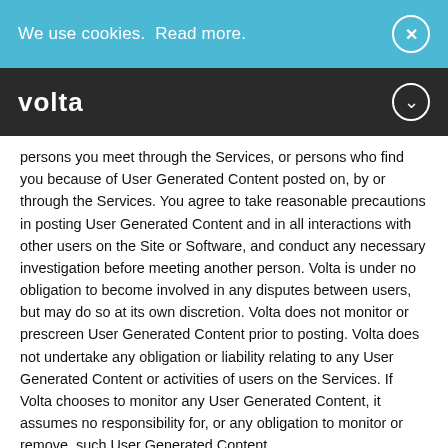We use cookies. Read more.
volta
persons you meet through the Services, or persons who find you because of User Generated Content posted on, by or through the Services. You agree to take reasonable precautions in posting User Generated Content and in all interactions with other users on the Site or Software, and conduct any necessary investigation before meeting another person. Volta is under no obligation to become involved in any disputes between users, but may do so at its own discretion. Volta does not monitor or prescreen User Generated Content prior to posting. Volta does not undertake any obligation or liability relating to any User Generated Content or activities of users on the Services. If Volta chooses to monitor any User Generated Content, it assumes no responsibility for, or any obligation to monitor or remove, such User Generated Content.
Volta reserves all rights to edit, remove, or refuse to post